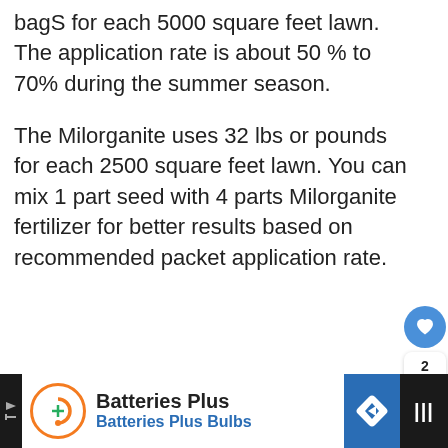bagS for each 5000 square feet lawn. The application rate is about 50 % to 70% during the summer season.
The Milorganite uses 32 lbs or pounds for each 2500 square feet lawn. You can mix 1 part seed with 4 parts Milorganite fertilizer for better results based on recommended packet application rate.
Also Read: Does Milorganite Kill Weeds? Proper Application Process You Must Know
[Figure (other): What's Next callout card showing 'Lesco Vs Scotts -...' with logos]
[Figure (other): Advertisement bar for Batteries Plus / Batteries Plus Bulbs with orange logo and blue diamond navigation icon]